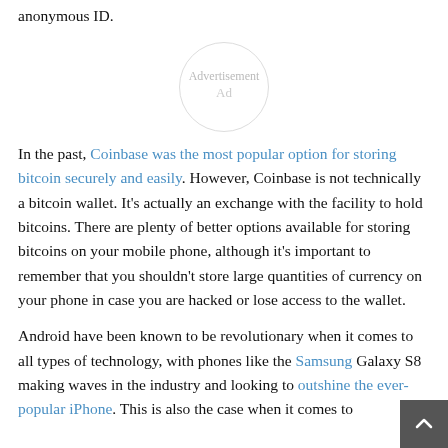anonymous ID.
[Figure (other): Advertisement placeholder circle with text 'Advertisement' and 'Ad']
In the past, Coinbase was the most popular option for storing bitcoin securely and easily. However, Coinbase is not technically a bitcoin wallet. It's actually an exchange with the facility to hold bitcoins. There are plenty of better options available for storing bitcoins on your mobile phone, although it's important to remember that you shouldn't store large quantities of currency on your phone in case you are hacked or lose access to the wallet.
Android have been known to be revolutionary when it comes to all types of technology, with phones like the Samsung Galaxy S8 making waves in the industry and looking to outshine the ever-popular iPhone. This is also the case when it comes to